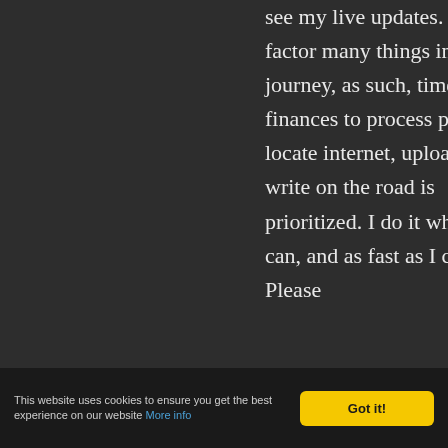see my live updates. I have to factor many things into this journey, as such, time and finances to process photos, locate internet, upload and write on the road is prioritized. I do it whenever I can, and as fast as I can. Please
This website uses cookies to ensure you get the best experience on our website More info
Got it!